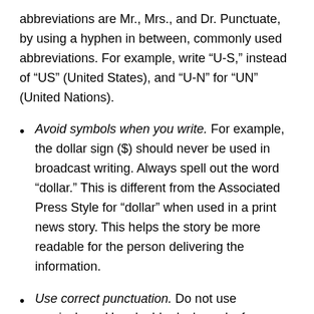abbreviations are Mr., Mrs., and Dr. Punctuate, by using a hyphen in between, commonly used abbreviations. For example, write “U-S,” instead of “US” (United States), and “U-N” for “UN” (United Nations).
Avoid symbols when you write. For example, the dollar sign ($) should never be used in broadcast writing. Always spell out the word “dollar.” This is different from the Associated Press Style for “dollar” when used in a print news story. This helps the story be more readable for the person delivering the information.
Use correct punctuation. Do not use semicolons. Use double dash marks for longer pauses than commas. Use underlines for emphasis.
Use numbers correctly. Spell out numerals through